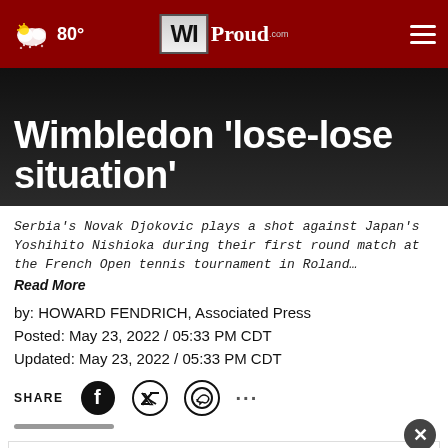WIProud.com — 80° weather — navigation header
Wimbledon 'lose-lose situation'
Serbia's Novak Djokovic plays a shot against Japan's Yoshihito Nishioka during their first round match at the French Open tennis tournament in Roland…
Read More
by: HOWARD FENDRICH, Associated Press
Posted: May 23, 2022 / 05:33 PM CDT
Updated: May 23, 2022 / 05:33 PM CDT
SHARE
[Figure (infographic): Advertisement banner: View store hours, get directions, or call your salon!]
PARIS… his title at Wimbledon and supports the decision by the